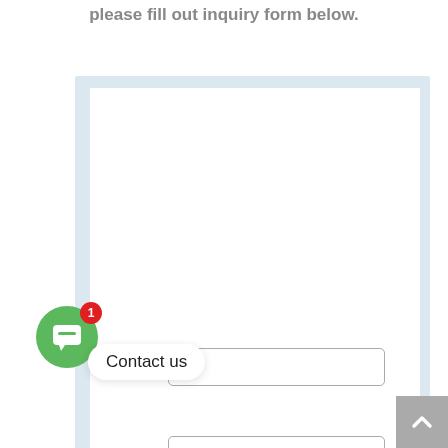please fill out inquiry form below.
[Figure (screenshot): A web page section showing a form container with a light blue background and a white inner panel. Two empty input fields with rounded borders are visible near the bottom. A green circular chat button with a white speech bubble icon and a red badge showing '1' is in the lower left. A white 'Contact us' bubble tooltip appears next to the chat button. A grey scroll-to-top button with an upward chevron is in the bottom right corner.]